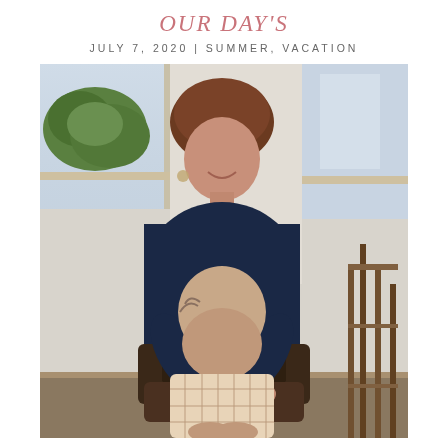OUR DAY'S
JULY 7, 2020 | SUMMER, VACATION
[Figure (photo): A woman standing behind an elderly man seated in a dark leather chair, both smiling. The woman is wearing a dark navy top and has short brown hair. The man is wearing a plaid shirt and glasses. They are indoors near windows with foliage visible outside.]